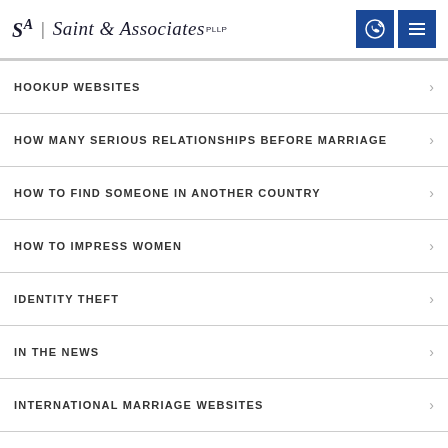Saint & Associates, PLLP
HOOKUP WEBSITES
HOW MANY SERIOUS RELATIONSHIPS BEFORE MARRIAGE
HOW TO FIND SOMEONE IN ANOTHER COUNTRY
HOW TO IMPRESS WOMEN
IDENTITY THEFT
IN THE NEWS
INTERNATIONAL MARRIAGE WEBSITES
INTERNET BRIDE